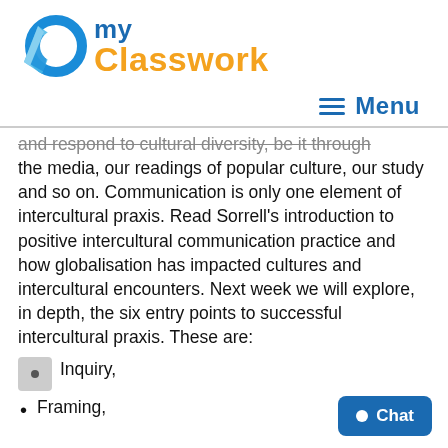[Figure (logo): DoMyClasswork logo with blue geometric icon and text 'DO my Classwork' where 'DO my' is blue and 'Classwork' is orange]
≡  Menu
and respond to cultural diversity, be it through the media, our readings of popular culture, our study and so on. Communication is only one element of intercultural praxis. Read Sorrell's introduction to positive intercultural communication practice and how globalisation has impacted cultures and intercultural encounters. Next week we will explore, in depth, the six entry points to successful intercultural praxis. These are:
Inquiry,
Framing,